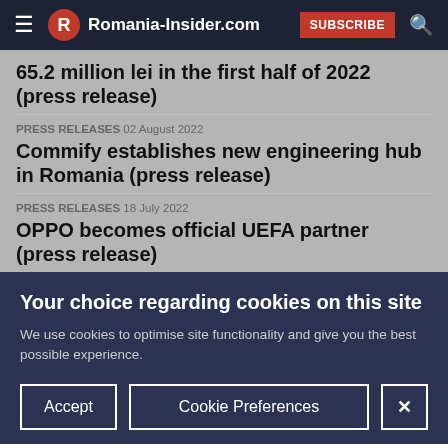Romania-Insider.com SUBSCRIBE
65.2 million lei in the first half of 2022 (press release)
PRESS RELEASES 02 August 2022
Commify establishes new engineering hub in Romania (press release)
PRESS RELEASES 18 July 2022
OPPO becomes official UEFA partner (press release)
Your choice regarding cookies on this site
We use cookies to optimise site functionality and give you the best possible experience.
Accept  Cookie Preferences  X